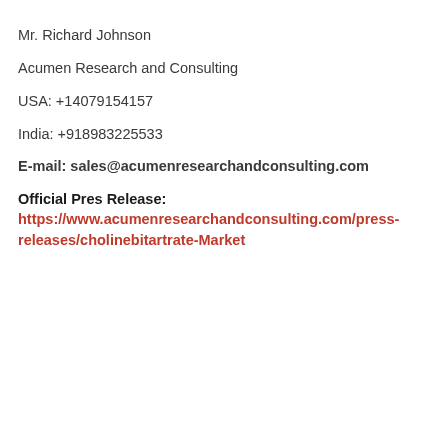Mr. Richard Johnson
Acumen Research and Consulting
USA: +14079154157
India: +918983225533
E-mail: sales@acumenresearchandconsulting.com
Official Pres Release:
https://www.acumenresearchandconsulting.com/press-releases/cholinebitartrate-Market
Source link